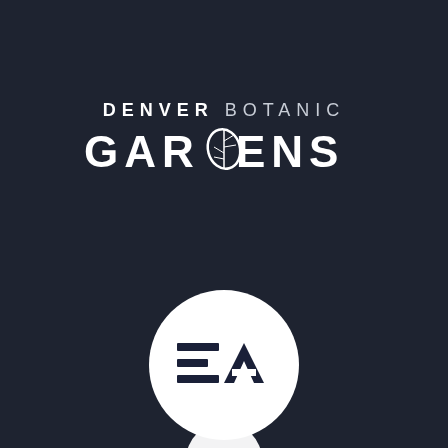[Figure (logo): Denver Botanic Gardens logo — two lines of text in white on dark background. First line: 'DENVER BOTANIC' in spaced caps with a leaf icon integrated into the D of GARDENS. Second line: 'GARDENS' in large bold spaced caps with a botanical leaf icon replacing the D character.]
[Figure (logo): EA (Electronic Arts) logo — white circle with dark blue stylized 'EA' lettering inside, bold italic E and A with horizontal slash through the E.]
[Figure (logo): Partial third logo visible at bottom center, appears as white icon on dark background, partially cropped.]